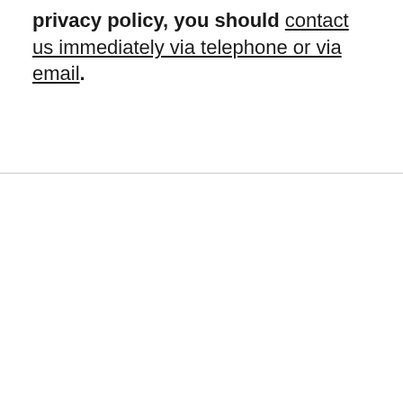privacy policy, you should contact us immediately via telephone or via email.